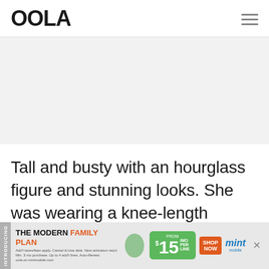OOLA
[Figure (other): Gray banner/advertisement placeholder area]
Tall and busty with an hourglass figure and stunning looks. She was wearing a knee-length button-
[Figure (infographic): Mint Mobile advertisement banner: INTRODUCING THE MODERN FAMILY PLAN FROM $15/MO PER LINE SHOP NOW mint mobile]